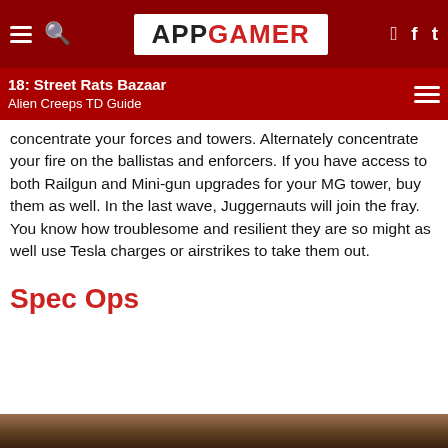APPGAMER
18: Street Rats Bazaar
Alien Creeps TD Guide
concentrate your forces and towers. Alternately concentrate your fire on the ballistas and enforcers. If you have access to both Railgun and Mini-gun upgrades for your MG tower, buy them as well. In the last wave, Juggernauts will join the fray. You know how troublesome and resilient they are so might as well use Tesla charges or airstrikes to take them out.
Spec Ops
[Figure (photo): Bottom image strip showing a scene from Alien Creeps TD game]